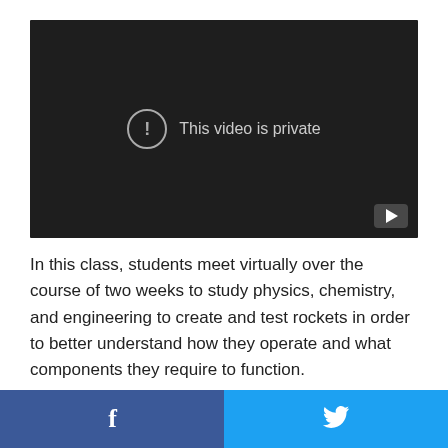[Figure (screenshot): A dark video player showing 'This video is private' message with an exclamation circle icon and a YouTube play button in the bottom right corner.]
In this class, students meet virtually over the course of two weeks to study physics, chemistry, and engineering to create and test rockets in order to better understand how they operate and what components they require to function.
(partially visible/cut off text at bottom)